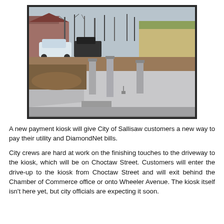[Figure (photo): Outdoor photo of a newly poured concrete driveway/pad with several concrete bollard posts, surrounded by dirt/mulch. In the background there are buildings, parked vehicles including a white SUV, and bare trees under an overcast sky.]
A new payment kiosk will give City of Sallisaw customers a new way to pay their utility and DiamondNet bills.
City crews are hard at work on the finishing touches to the driveway to the kiosk, which will be on Choctaw Street. Customers will enter the drive-up to the kiosk from Choctaw Street and will exit behind the Chamber of Commerce office or onto Wheeler Avenue. The kiosk itself isn't here yet, but city officials are expecting it soon.